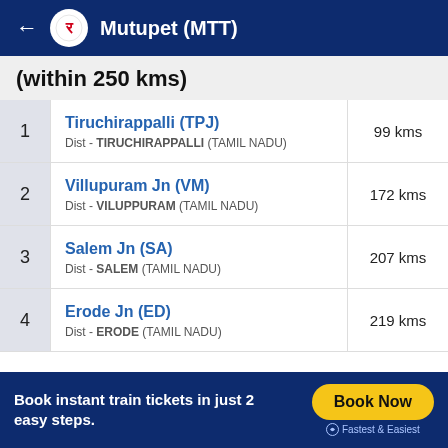Mutupet (MTT)
(within 250 kms)
| # | Station | Distance |
| --- | --- | --- |
| 1 | Tiruchirappalli (TPJ)
Dist - TIRUCHIRAPPALLI (TAMIL NADU) | 99 kms |
| 2 | Villupuram Jn (VM)
Dist - VILUPPURAM (TAMIL NADU) | 172 kms |
| 3 | Salem Jn (SA)
Dist - SALEM (TAMIL NADU) | 207 kms |
| 4 | Erode Jn (ED)
Dist - ERODE (TAMIL NADU) | 219 kms |
Book instant train tickets in just 2 easy steps.